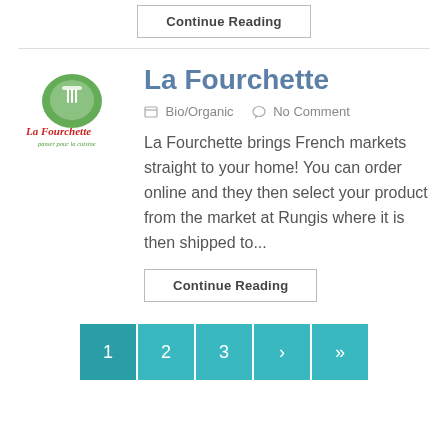Continue Reading
La Fourchette
Bio/Organic   No Comment
La Fourchette brings French markets straight to your home!  You can order online and they then select your product from the market at Rungis where it is then shipped to...
Continue Reading
1  2  3  ›  »